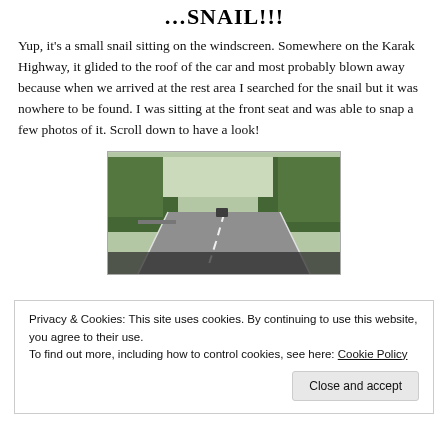…SNAIL!!!
Yup, it's a small snail sitting on the windscreen. Somewhere on the Karak Highway, it glided to the roof of the car and most probably blown away because when we arrived at the rest area I searched for the snail but it was nowhere to be found. I was sitting at the front seat and was able to snap a few photos of it. Scroll down to have a look!
[Figure (photo): View from inside a car looking through the windscreen at a highway (Karak Highway) with trees on both sides and another vehicle ahead on the road.]
Privacy & Cookies: This site uses cookies. By continuing to use this website, you agree to their use.
To find out more, including how to control cookies, see here: Cookie Policy
Close and accept